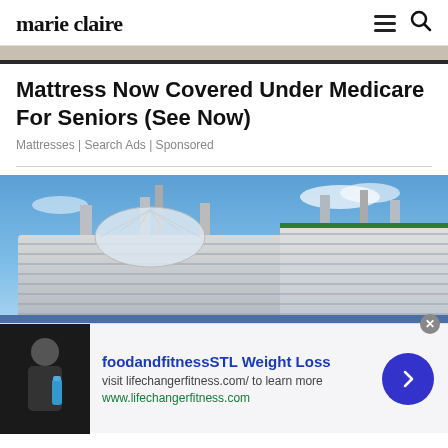marie claire
[Figure (photo): Top portion of a photo partially visible — skin-toned background, cropped]
Mattress Now Covered Under Medicare For Seniors (See Now)
Mattresses | Search Ads | Sponsored
[Figure (photo): Two large cruise ships docked side by side against a blue sky with clouds]
[Figure (photo): Advertisement banner: foodandfitnessSTL Weight Loss — person holding water bottle. visit lifechangerfitness.com/ to learn more. www.lifechangerfitness.com]